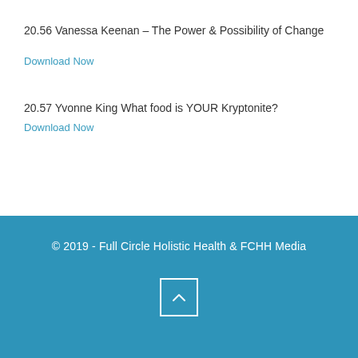20.56 Vanessa Keenan – The Power & Possibility of Change
Download Now
20.57 Yvonne King What food is YOUR Kryptonite?
Download Now
© 2019 - Full Circle Holistic Health & FCHH Media